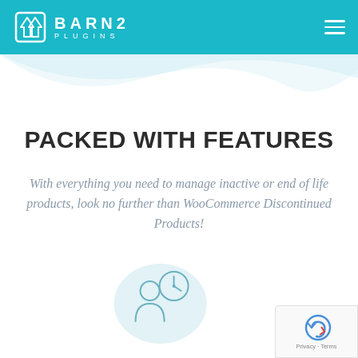BARN2 PLUGINS
PACKED WITH FEATURES
With everything you need to manage inactive or end of life products, look no further than WooCommerce Discontinued Products!
[Figure (illustration): Icon of a person with a clock, inside a light blue circle, representing time or scheduling]
[Figure (logo): Google reCAPTCHA badge with Privacy and Terms links]